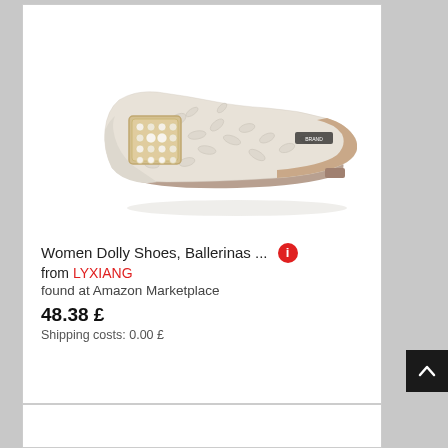[Figure (photo): A women's flat ballerina shoe in cream/ivory color with embossed floral texture and a square rhinestone/pearl decorative buckle on the toe. The shoe is shown from a side angle on a white background.]
Women Dolly Shoes, Ballerinas ... from LYXIANG
found at Amazon Marketplace
48.38 £
Shipping costs: 0.00 £